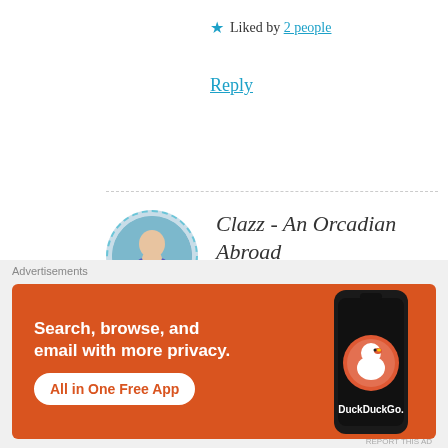★ Liked by 2 people
Reply
Clazz - An Orcadian Abroad
FEBRUARY 25, 2018 AT 7:14 PM
That is very true, and he has been saying the same thing! It's not like I'm
[Figure (infographic): DuckDuckGo advertisement banner with phone mockup. Text: Search, browse, and email with more privacy. All in One Free App. DuckDuckGo.]
Advertisements